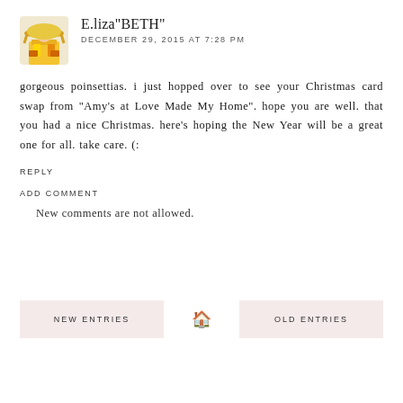E.liza"BETH"
DECEMBER 29, 2015 AT 7:28 PM
gorgeous poinsettias. i just hopped over to see your Christmas card swap from "Amy's at Love Made My Home". hope you are well. that you had a nice Christmas. here's hoping the New Year will be a great one for all. take care. (:
REPLY
ADD COMMENT
New comments are not allowed.
NEW ENTRIES
OLD ENTRIES